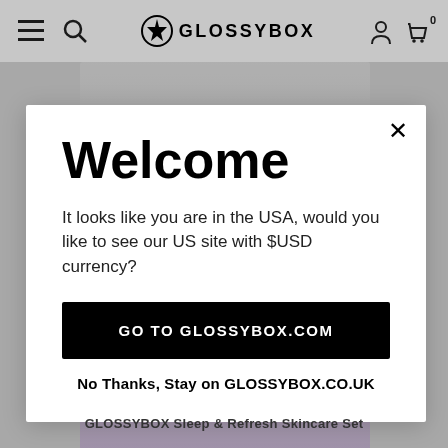≡ 🔍 GLOSSYBOX 👤 🛒 0
[Figure (screenshot): Background website content: skincare product images and bottom caption partially visible behind modal overlay]
Welcome
It looks like you are in the USA, would you like to see our US site with $USD currency?
GO TO GLOSSYBOX.COM
No Thanks, Stay on GLOSSYBOX.CO.UK
GLOSSYBOX Sleep & Refresh Skincare Set